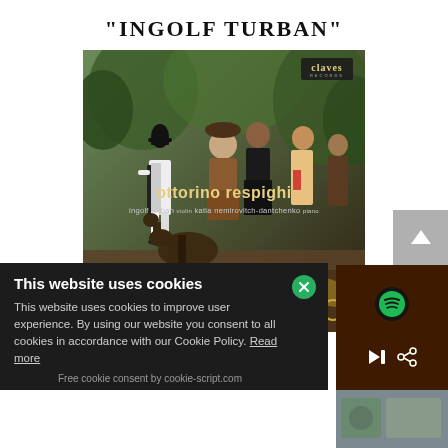"INGOLF TURBAN"
[Figure (photo): Album cover for Ottorino Respighi featuring Ingolf Turban (violin) and Katia Nemirovitch-Dantchenko (piano). Background is a classical painting of a crowded outdoor scene with elegantly dressed figures. Text on cover reads: ottorino respighi / ingolf turban violin katia nemirovitch-dantchenko piano. Claves Records logo in top right corner.]
This website uses cookies
This website uses cookies to improve user experience. By using our website you consent to all cookies in accordance with our Cookie Policy. Read more
Free cookie consent by cookie-script.com